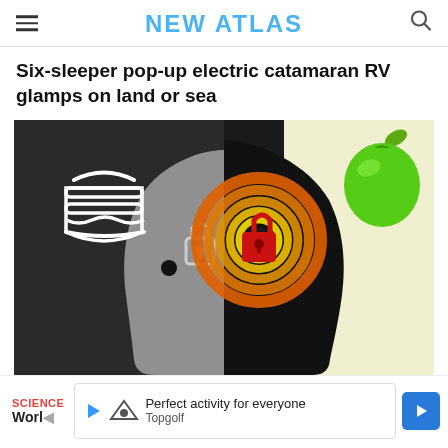NEW ATLAS
Six-sleeper pop-up electric catamaran RV glamps on land or sea
[Figure (illustration): Illustration showing two human head silhouettes in profile facing right. Left head is gray on dark background with a hamburger icon and a closed padlock icon. Right head is black on a light yellow background with a green apple icon and an open red padlock inside a swirling orange/yellow spiral pattern in the brain area.]
SCIENCE
Worl
Perfect activity for everyone  Topgolf